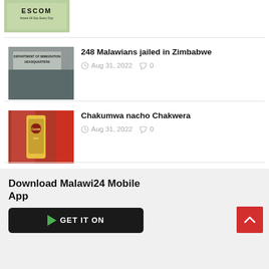[Figure (photo): ESCOM logo/sign thumbnail at top of page]
248 Malawians jailed in Zimbabwe
Aug 31, 2022  0
[Figure (photo): Department of Immigration Headquarters building sign]
Chakumwa nacho Chakwera
Aug 31, 2022  0
[Figure (photo): Castel Beer bottle on red background]
Download Malawi24 Mobile App
[Figure (screenshot): GET IT ON Google Play button]